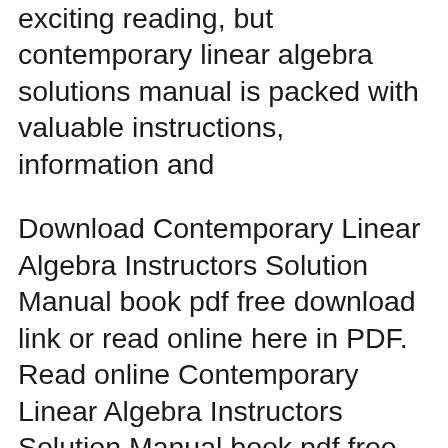exciting reading, but contemporary linear algebra solutions manual is packed with valuable instructions, information and
Download Contemporary Linear Algebra Instructors Solution Manual book pdf free download link or read online here in PDF. Read online Contemporary Linear Algebra Instructors Solution Manual book pdf free download link book now. All books are in clear copy here, and all files are secure so don't worry about it. This site is like a library, you Download Contemporary Linear Algebra Howard Anton Solution Manual book pdf free download link or read online here in PDF. Read online Contemporary Linear